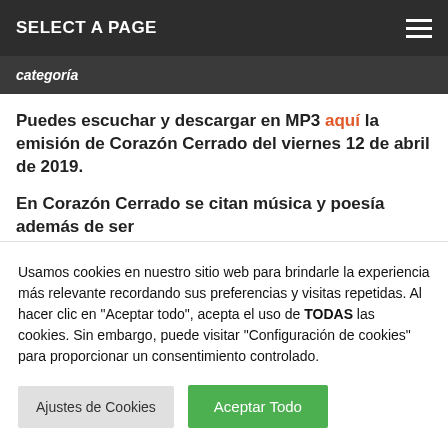SELECT A PAGE
categoría
Puedes escuchar y descargar en MP3 aquí la emisión de Corazón Cerrado del viernes 12 de abril de 2019.
En Corazón Cerrado se citan música y poesía además de ser
Usamos cookies en nuestro sitio web para brindarle la experiencia más relevante recordando sus preferencias y visitas repetidas. Al hacer clic en "Aceptar todo", acepta el uso de TODAS las cookies. Sin embargo, puede visitar "Configuración de cookies" para proporcionar un consentimiento controlado.